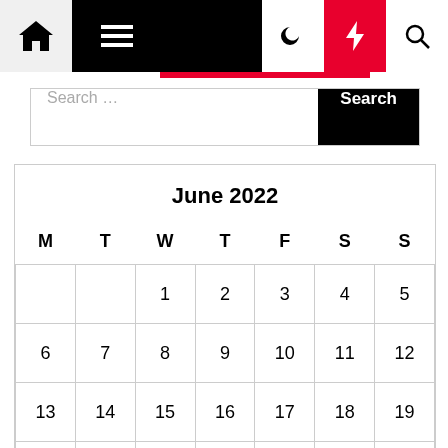[Figure (screenshot): Website navigation bar with home icon, hamburger menu, moon icon, red lightning bolt icon, and search icon]
[Figure (screenshot): Search input field with placeholder text 'Search ...' and a black 'Search' button]
| M | T | W | T | F | S | S |
| --- | --- | --- | --- | --- | --- | --- |
|  |  | 1 | 2 | 3 | 4 | 5 |
| 6 | 7 | 8 | 9 | 10 | 11 | 12 |
| 13 | 14 | 15 | 16 | 17 | 18 | 19 |
| 20 | 21 | 22 | 23 | 24 | 25 | 26 |
| 27 | 28 | 29 | 30 |  |  |  |